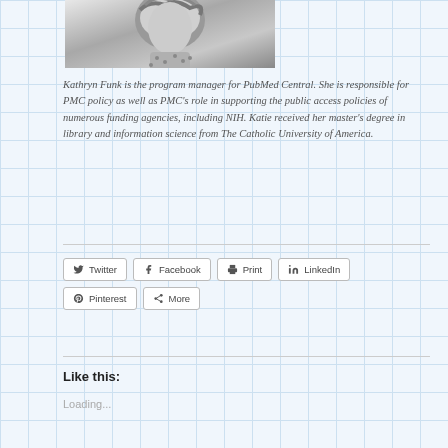[Figure (photo): Black and white photo of Kathryn Funk, a woman with curly hair wearing a dotted top, cropped at top of page]
Kathryn Funk is the program manager for PubMed Central. She is responsible for PMC policy as well as PMC's role in supporting the public access policies of numerous funding agencies, including NIH. Katie received her master's degree in library and information science from The Catholic University of America.
Twitter  Facebook  Print  LinkedIn  Pinterest  More
Like this:
Loading...